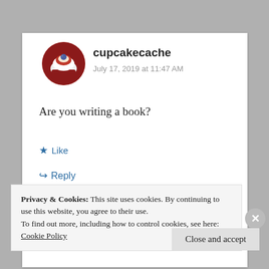[Figure (photo): Circular avatar image showing a cupcake with red and white frosting and a blueberry on top]
cupcakecache
July 17, 2019 at 11:47 AM
Are you writing a book?
★ Like
↵ Reply
Privacy & Cookies: This site uses cookies. By continuing to use this website, you agree to their use.
To find out more, including how to control cookies, see here: Cookie Policy
Close and accept